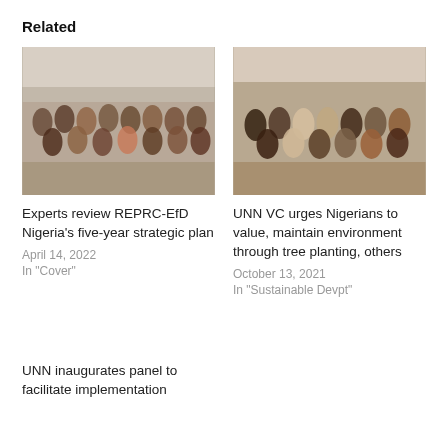Related
[Figure (photo): Group photo of people standing together outdoors, related to REPRC-EfD Nigeria strategic plan article]
Experts review REPRC-EfD Nigeria's five-year strategic plan
April 14, 2022
In "Cover"
[Figure (photo): Group photo of people standing together indoors, related to UNN VC urges Nigerians article]
UNN VC urges Nigerians to value, maintain environment through tree planting, others
October 13, 2021
In "Sustainable Devpt"
UNN inaugurates panel to facilitate implementation